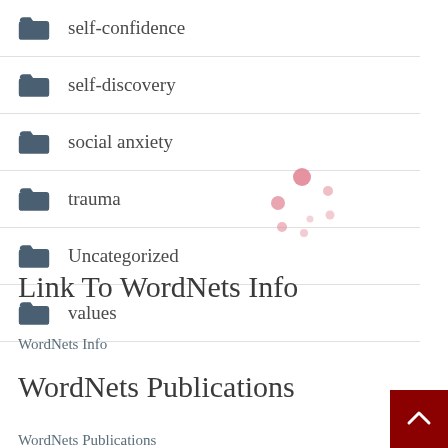self-confidence
self-discovery
social anxiety
trauma
Uncategorized
values
[Figure (infographic): Loading spinner animation dots in pinkish-red color]
Link To WordNets Info
WordNets Info
WordNets Publications
WordNets Publications